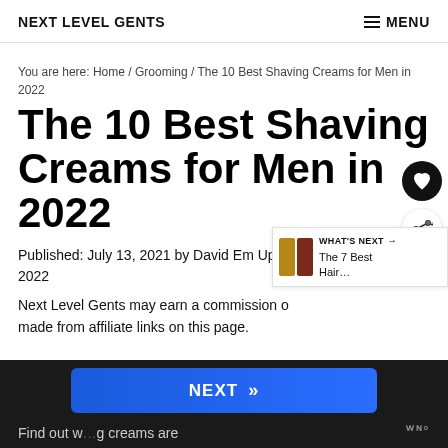NEXT LEVEL GENTS   MENU
You are here: Home / Grooming / The 10 Best Shaving Creams for Men in 2022
The 10 Best Shaving Creams for Men in 2022
Published: July 13, 2021 by David Em Updated: June 26, 2022
Next Level Gents may earn a commission on purchases made from affiliate links on this page.
WHAT'S NEXT → The 7 Best Hair...
Find out w… g creams are